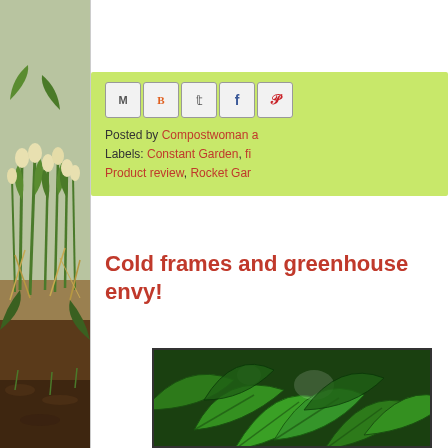[Figure (photo): Vertical strip of garden photo showing daffodils/narcissus plants and dried vegetation in soil, used as decorative sidebar]
[Figure (infographic): Social sharing buttons panel with Gmail, Blogger, Twitter, Facebook, Pinterest icons on a light green background]
Posted by Compostwoman a
Labels: Constant Garden, fi
Product review, Rocket Gar
Cold frames and greenhouse envy!
[Figure (photo): Close-up photo of large green leaves (possibly bean or squash plant) in what appears to be a greenhouse setting]